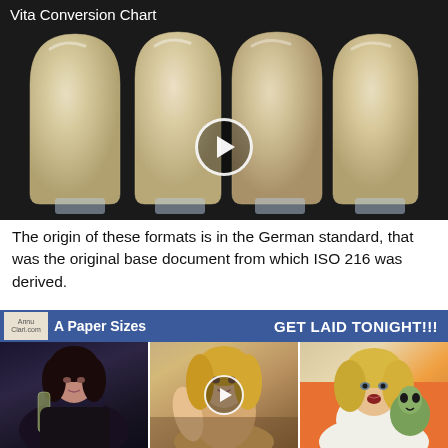[Figure (photo): Video thumbnail showing four dental tooth shade samples (veneers/crowns) on a dark background with a play button overlay. Title reads 'Vita Conversion Chart'.]
The origin of these formats is in the German standard, that was the original base document from which ISO 216 was derived.
[Figure (infographic): Blue advertisement banner with 'A Paper Sizes' on the left and 'GET LAID TONIGHT!!!' on the right, with a small logo on the left side.]
[Figure (photo): Three advertisement photos of women side by side. The middle photo has a play button overlay.]